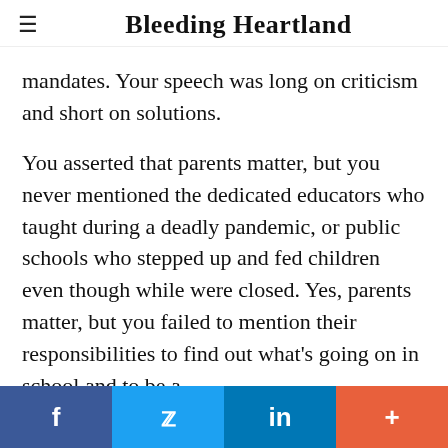Bleeding Heartland
mandates. Your speech was long on criticism and short on solutions.
You asserted that parents matter, but you never mentioned the dedicated educators who taught during a deadly pandemic, or public schools who stepped up and fed children even though while were closed. Yes, parents matter, but you failed to mention their responsibilities to find out what’s going on in school and to be a
f  🐦  in  +